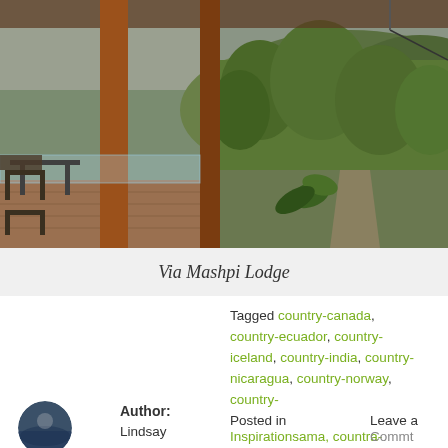[Figure (photo): Exterior deck/balcony of a modern lodge with wooden columns, glass railings, wicker furniture, and lush green tropical forest and hills in the background under overcast sky]
Via Mashpi Lodge
Tagged country-canada, country-ecuador, country-iceland, country-india, country-nicaragua, country-norway, country-
Author: Lindsay
Posted in Inspirationsama, countra-
Leave a Commt